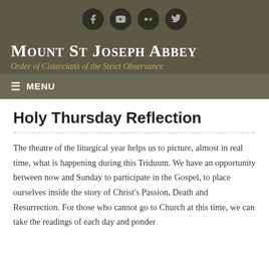[Figure (other): Four social media icon buttons (Facebook, YouTube, Flickr, Twitter) in dark circles on olive/dark green background]
Mount St Joseph Abbey
Order of Cistercians of the Strict Observance
≡ MENU
Holy Thursday Reflection
The theatre of the liturgical year helps us to picture, almost in real time, what is happening during this Triduum. We have an opportunity between now and Sunday to participate in the Gospel, to place ourselves inside the story of Christ's Passion, Death and Resurrection. For those who cannot go to Church at this time, we can take the readings of each day and ponder